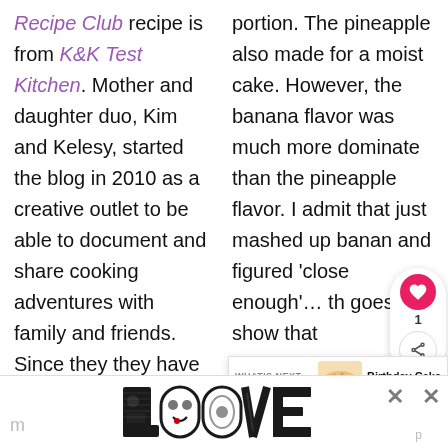Recipe Club recipe is from K&K Test Kitchen. Mother and daughter duo, Kim and Kelesy, started the blog in 2010 as a creative outlet to be able to document and share cooking adventures with family and friends. Since they they have
portion. The pineapple also made for a moist cake. However, the banana flavor was much more dominate than the pineapple flavor. I admit that just mashed up banan and figured 'close enough'… th goes to show that
[Figure (screenshot): Social media overlay with heart/like button showing count of 1, and share button]
[Figure (screenshot): What's Next overlay showing Birthday Cake Waffles with... article thumbnail]
[Figure (screenshot): LOVE advertisement banner at bottom of page with decorative letters]